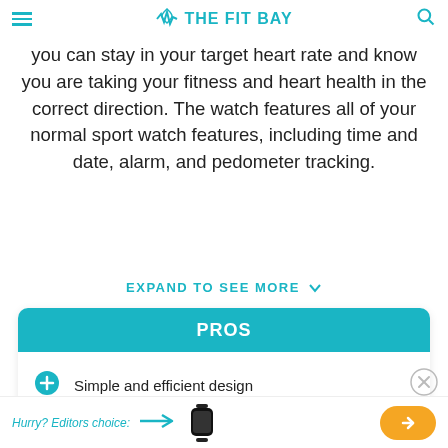THE FIT BAY
you can stay in your target heart rate and know you are taking your fitness and heart health in the correct direction. The watch features all of your normal sport watch features, including time and date, alarm, and pedometer tracking.
EXPAND TO SEE MORE
PROS
Simple and efficient design
Waterproof
Hurry? Editors choice: